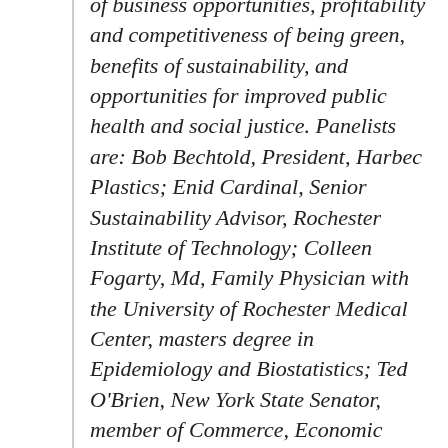of business opportunities, profitability and competitiveness of being green, benefits of sustainability, and opportunities for improved public health and social justice. Panelists are: Bob Bechtold, President, Harbec Plastics; Enid Cardinal, Senior Sustainability Advisor, Rochester Institute of Technology; Colleen Fogarty, Md, Family Physician with the University of Rochester Medical Center, masters degree in Epidemiology and Biostatistics; Ted O'Brien, New York State Senator, member of Commerce, Economic Development and Small Business Committee and Science, Technology, Incubation and Entrepreneurship